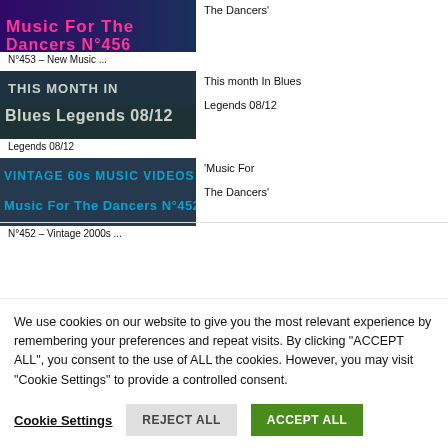[Figure (screenshot): Thumbnail image for Music For The Dancers N°456, showing a cropped banner with pink/magenta text partially visible]
The Dancers'
N°453 – New Music ...
[Figure (screenshot): Thumbnail image for This Month In Blues Legends 08/12, dark background with white bold text overlay]
This month In Blues Legends 08/12
Legends 08/12
[Figure (screenshot): Thumbnail image for Music For The Dancers N°452, showing Vintage 60s Music Videos banner in cyan/blue overlay]
'Music For The Dancers'
N°452 – Vintage 2000s ...
We use cookies on our website to give you the most relevant experience by remembering your preferences and repeat visits. By clicking "ACCEPT ALL", you consent to the use of ALL the cookies. However, you may visit "Cookie Settings" to provide a controlled consent.
Cookie Settings
REJECT ALL
ACCEPT ALL